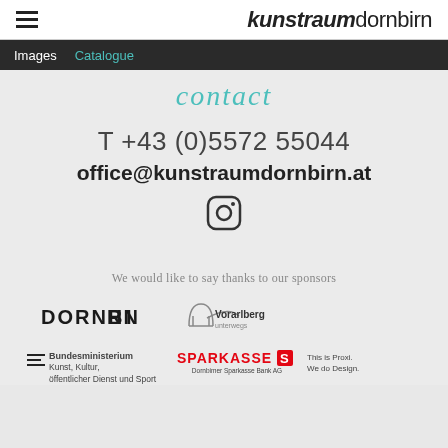kunstraumdornbirn
Images  Catalogue
contact
T +43 (0)5572 55044
office@kunstraumdornbirn.at
[Figure (logo): Instagram logo icon]
We would like to say thanks to our sponsors
[Figure (logo): DORNBIRN logo]
[Figure (logo): Vorarlberg logo]
[Figure (logo): Bundesministerium Kunst, Kultur, öffentlicher Dienst und Sport logo]
[Figure (logo): SPARKASSE Dornbimer Sparkasse Bank AG logo]
[Figure (logo): This is Proxi. We do Design.]